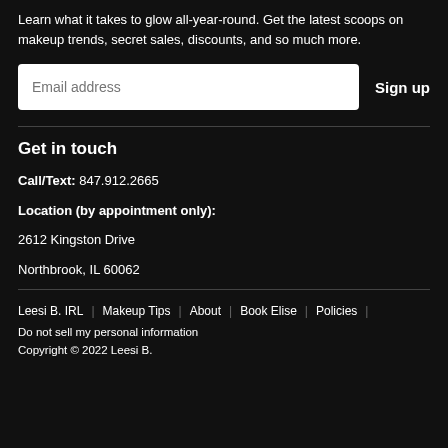Learn what it takes to glow all-year-round. Get the latest scoops on makeup trends, secret sales, discounts, and so much more.
Email address | Sign up
Get in touch
Call/Text: 847.912.2665
Location (by appointment only):
2612 Kingston Drive
Northbrook, IL 60062
Leesi B. IRL | Makeup Tips | About | Book Elise | Policies | Do not sell my personal information | Copyright © 2022 Leesi B.